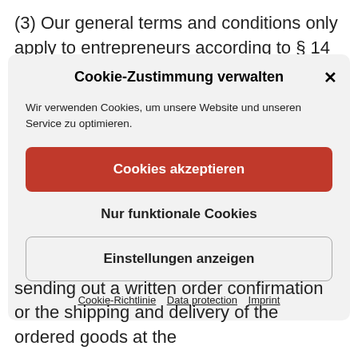(3) Our general terms and conditions only apply to entrepreneurs according to § 14 in the German Civil
Cookie-Zustimmung verwalten
Wir verwenden Cookies, um unsere Website und unseren Service zu optimieren.
Cookies akzeptieren
Nur funktionale Cookies
Einstellungen anzeigen
Cookie-Richtlinie   Data protection   Imprint
sending out a written order confirmation or the shipping and delivery of the ordered goods at the